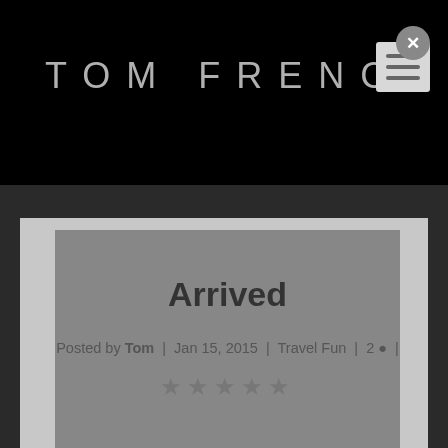TOM FRENCH
[Figure (screenshot): Menu icon with X close button (circle) and hamburger lines on a paper-like rectangle]
Arrived
Posted by Tom | Jan 15, 2015 | Travel Fun | 2 |
★★★★★